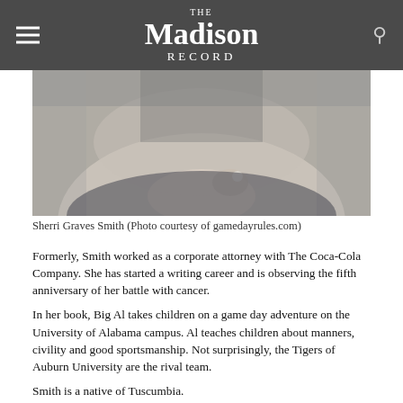The Madison Record
[Figure (photo): Close-up photo of a person's hands and lower body, wearing a ring and dark clothing]
Sherri Graves Smith (Photo courtesy of gamedayrules.com)
Formerly, Smith worked as a corporate attorney with The Coca-Cola Company. She has started a writing career and is observing the fifth anniversary of her battle with cancer.
In her book, Big Al takes children on a game day adventure on the University of Alabama campus. Al teaches children about manners, civility and good sportsmanship. Not surprisingly, the Tigers of Auburn University are the rival team.
Smith is a native of Tuscumbia.
After joining Coca-Cola's legal division in 2000, Smith worked as assistant division counsel in Toronto. While in consideration for a three-year position in Vienna, her career came to an abrupt halt